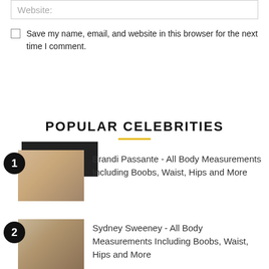Website:
Save my name, email, and website in this browser for the next time I comment.
Post Comment
POPULAR CELEBRITIES
Brandi Passante - All Body Measurements Including Boobs, Waist, Hips and More
Sydney Sweeney - All Body Measurements Including Boobs, Waist, Hips and More